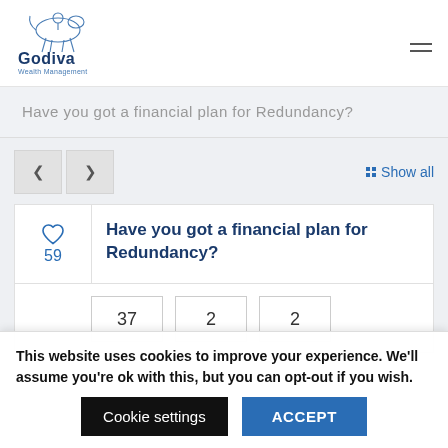[Figure (logo): Godiva Wealth Management logo with horse and rider illustration]
Have you got a financial plan for Redundancy?
< >  Show all
Have you got a financial plan for Redundancy?
♡ 59
| 37 | 2 | 2 |
This website uses cookies to improve your experience. We'll assume you're ok with this, but you can opt-out if you wish.
Cookie settings  ACCEPT